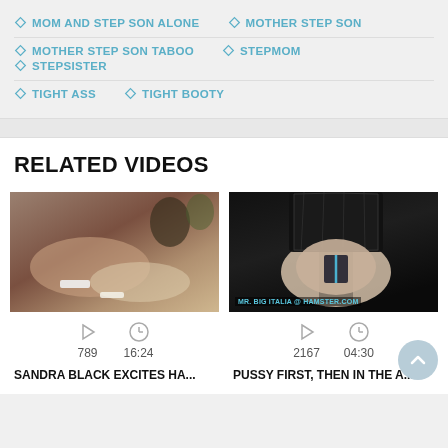MOM AND STEP SON ALONE
MOTHER STEP SON
MOTHER STEP SON TABOO
STEPMOM
STEPSISTER
TIGHT ASS
TIGHT BOOTY
RELATED VIDEOS
[Figure (photo): Video thumbnail showing adult content]
789  16:24
SANDRA BLACK EXCITES HA...
[Figure (photo): Video thumbnail showing adult content with watermark MR. BIG ITALIA @ HAMSTER.COM]
2167  04:30
PUSSY FIRST, THEN IN THE A...